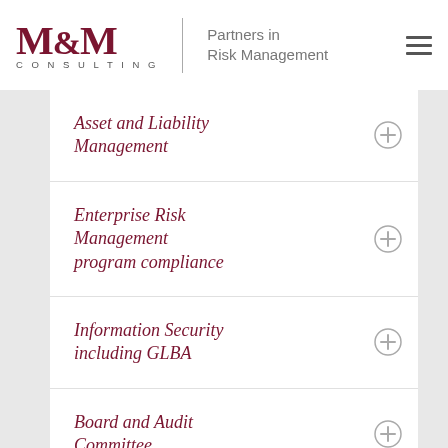M&M Consulting | Partners in Risk Management
Asset and Liability Management
Enterprise Risk Management program compliance
Information Security including GLBA
Board and Audit Committee Presentations and